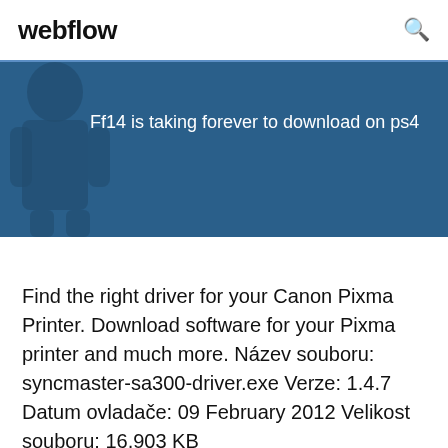webflow
[Figure (screenshot): Blue banner with text 'Ff14 is taking forever to download on ps4' and a dark silhouette figure on the left side]
Find the right driver for your Canon Pixma Printer. Download software for your Pixma printer and much more. Název souboru: syncmaster-sa300-driver.exe Verze: 1.4.7 Datum ovladače: 09 February 2012 Velikost souboru: 16,903 KB